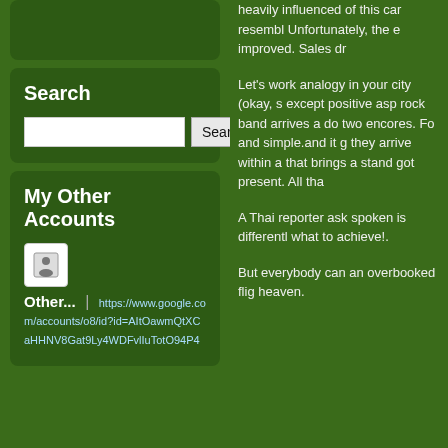Search
My Other Accounts
Other... | https://www.google.com/accounts/o8/id?id=AItOawmQtXCaHHNV8Gat9Ly4WDFvlIuTotO94P4
heavily influenced of this car resembl Unfortunately, the e improved. Sales dr
Let's work analogy in your city (okay, s except positive asp rock band arrives a do two encores. Fo and simple.and it g they arrive within a that brings a stand got present. All tha
A Thai reporter ask spoken is different what to achieve!.
But everybody can an overbooked flig heaven.